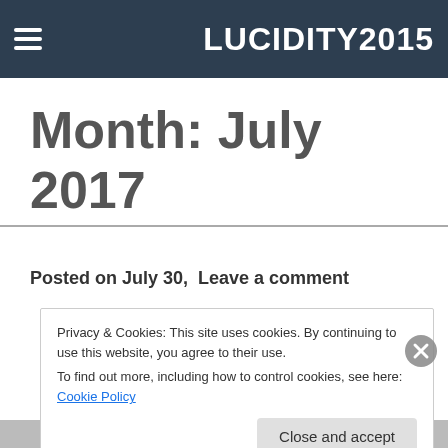LUCIDITY2015
Month: July 2017
Posted on July 30,  Leave a comment
Privacy & Cookies: This site uses cookies. By continuing to use this website, you agree to their use.
To find out more, including how to control cookies, see here: Cookie Policy
Close and accept